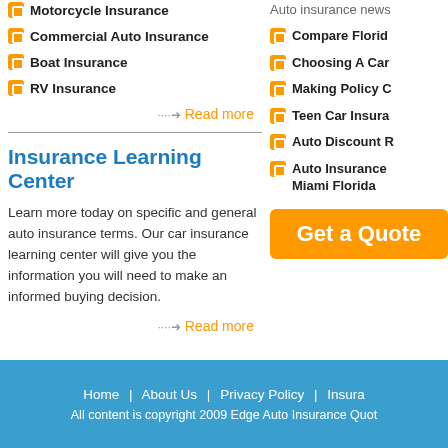Motorcycle Insurance
Commercial Auto Insurance
Boat Insurance
RV Insurance
Read more
Insurance Learning Center
Learn more today on specific and general auto insurance terms. Our car insurance learning center will give you the information you will need to make an informed buying decision.
Read more
Auto insurance news
Compare Florid…
Choosing A Car…
Making Policy C…
Teen Car Insura…
Auto Discount R…
Auto Insurance … Miami Florida
Get a Quote
Home | About Us | Privacy Policy | Insura… All content is copyright 2009 Edge Auto Insurance Quot…